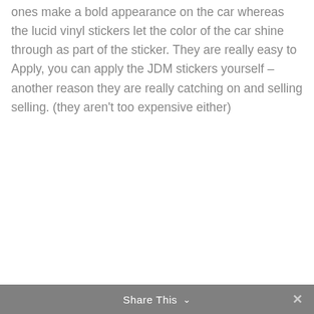ones make a bold appearance on the car whereas the lucid vinyl stickers let the color of the car shine through as part of the sticker. They are really easy to Apply, you can apply the JDM stickers yourself – another reason they are really catching on and selling selling. (they aren't too expensive either)
Share This ∨  ✕